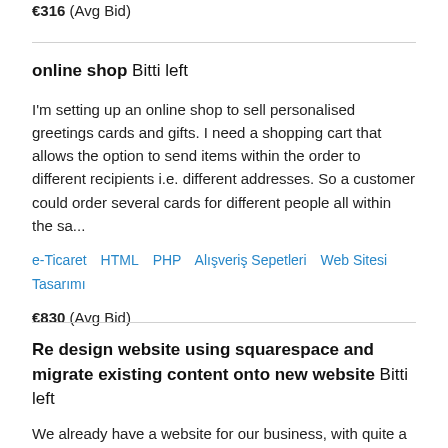€316  (Avg Bid)
online shop  Bitti left
I'm setting up an online shop to sell personalised greetings cards and gifts. I need a shopping cart that allows the option to send items within the order to different recipients i.e. different addresses. So a customer could order several cards for different people all within the sa...
e-Ticaret   HTML   PHP   Alışveriş Sepetleri   Web Sitesi Tasarımı
€830  (Avg Bid)
Re design website using squarespace and migrate existing content onto new website  Bitti left
We already have a website for our business, with quite a lot of content. It was built in-house using rapidweaver, but